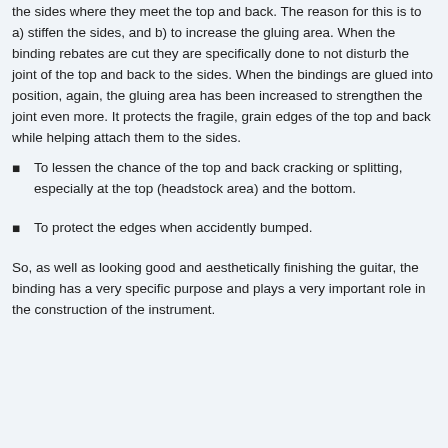the sides where they meet the top and back. The reason for this is to a) stiffen the sides, and b) to increase the gluing area. When the binding rebates are cut they are specifically done to not disturb the joint of the top and back to the sides. When the bindings are glued into position, again, the gluing area has been increased to strengthen the joint even more. It protects the fragile, grain edges of the top and back while helping attach them to the sides.
To lessen the chance of the top and back cracking or splitting, especially at the top (headstock area) and the bottom.
To protect the edges when accidently bumped.
So, as well as looking good and aesthetically finishing the guitar, the binding has a very specific purpose and plays a very important role in the construction of the instrument.